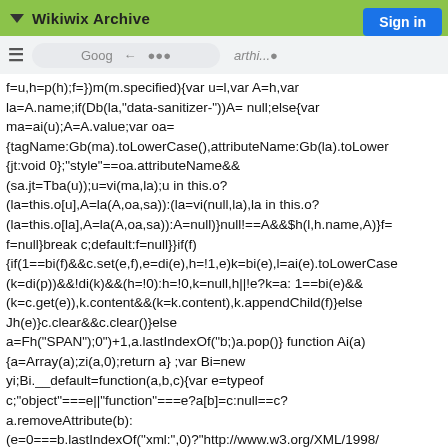Wikiwix Archive
Sign in
Goog  ←  arthi...
f=u,h=p(h);f=})m(m.specified){var u=1,var A=h,var la=A.name;if(Db(la,"data-sanitizer-"))A= null;else{var ma=ai(u);A=A.value;var oa= {tagName:Gb(ma).toLowerCase(),attributeName:Gb(la).toLower {jt:void 0};"style"==oa.attributeName&& (sa.jt=Tba(u));u=vi(ma,la);u in this.o? (la=this.o[u],A=la(A,oa,sa)):(la=vi(null,la),la in this.o? (la=this.o[la],A=la(A,oa,sa)):A=null)}null!==A&&$h(l,h.name,A)}f= f=null}break c;default:f=null}}if(f) {if(1==bi(f)&&c.set(e,f),e=di(e),h=!1,e)k=bi(e),l=ai(e).toLowerCase (k=di(p))&&!di(k)&&(h=!0):h=!0,k=null,h||!e?k=a: 1==bi(e)&& (k=c.get(e)),k.content&&(k=k.content),k.appendChild(f)}else Jh(e)}c.clear&&c.clear()}else a=Fh("SPAN");0")+1,a.lastIndexOf("b;)a.pop()} function Ai(a) {a=Array(a);zi(a,0);return a} ;var Bi=new yi;Bi.__default=function(a,b,c){var e=typeof c;"object"===e||"function"===e?a[b]=c:null==c? a.removeAttribute(b): (e=0===b.lastIndexOf("xml:",0)?"http://www.w3.org/XML/1998/ a.setAttributeNS(e,b,c):a.setAttribute(b,c)};